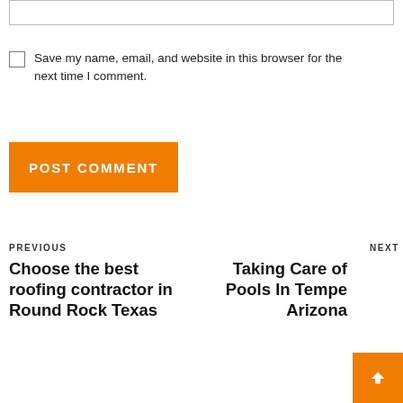[input box]
Save my name, email, and website in this browser for the next time I comment.
POST COMMENT
PREVIOUS
Choose the best roofing contractor in Round Rock Texas
NEXT
Taking Care of Pools In Tempe Arizona